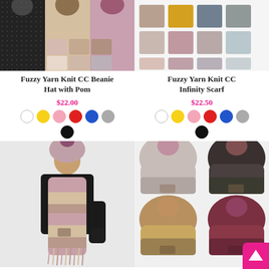[Figure (photo): Top portion of Fuzzy Yarn Knit CC Beanie Hat with Pom product photos showing hats with pom-poms and color swatch grid]
[Figure (photo): Top portion of Fuzzy Yarn Knit CC Infinity Scarf product photos showing color swatch grid]
Fuzzy Yarn Knit CC Beanie Hat with Pom
Fuzzy Yarn Knit CC Infinity Scarf
$22.00
$22.50
[Figure (photo): Color swatches circles: white, yellow, pink, red, blue, gray, black for Beanie Hat]
[Figure (photo): Color swatches circles: white, yellow, pink, red, blue, gray, black for Infinity Scarf]
[Figure (photo): Marled Knit CC Scarf with Fringe — woman wearing black coat with multicolor marled knit scarf and pom hat]
[Figure (photo): Fleece Lined Marled Knit CC Beanie Hat with Yarn — four beanie hats in two rows showing different color combinations]
Marled Knit CC Scarf with Fringe
Fleece Lined Marled Knit CC Beanie Hat with Yarn
[Figure (logo): Pink square logo with white upward chevron/arrow]